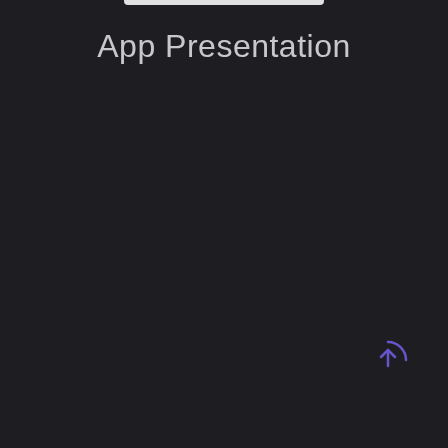App Presentation
[Figure (illustration): Circular upload/refresh icon with an upward arrow, rendered in purple/violet color, located in the bottom-right corner of a dark background screen]